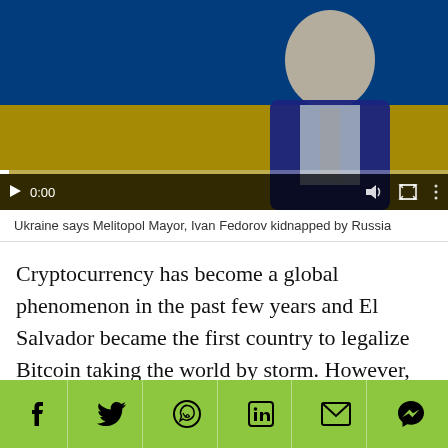[Figure (screenshot): Video thumbnail showing a man in a dark suit in front of a Ukrainian flag, with video playback controls showing 0:00]
Ukraine says Melitopol Mayor, Ivan Fedorov kidnapped by Russia
Cryptocurrency has become a global phenomenon in the past few years and El Salvador became the first country to legalize Bitcoin taking the world by storm. However, many countries remain still skeptical towards cryptocurrencies and some have already banned them including the most popular Bitcoin. But now, Texas is trying to explore ways to accept Bitcoin as a payment method. Reportedly, Steve Adler, who is The Mayor of
[Figure (infographic): Green social sharing bar with icons for Facebook, Twitter, WhatsApp, LinkedIn, Email, and Messenger]